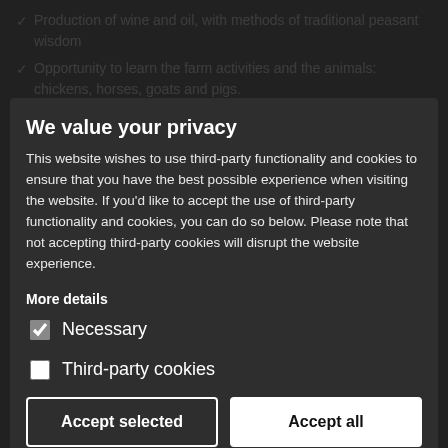Production of wine and oil, with methods of traditional peasant wisdom
Opportunity to learn the farm activities and the animals: chickens, horses, goats and pigs.
Homemade products
Quiet
Room Types
All apartments have:
Private
Private entrance
TV on request
Private outside area
Fully equipped kitchen
Living room
We value your privacy
This website wishes to use third-party functionality and cookies to ensure that you have the best possible experience when visiting the website. If you'd like to accept the use of third-party functionality and cookies, you can do so below. Please note that not accepting third-party cookies will disrupt the website experience.
More details
Necessary
Third-party cookies
Accept selected
Accept all